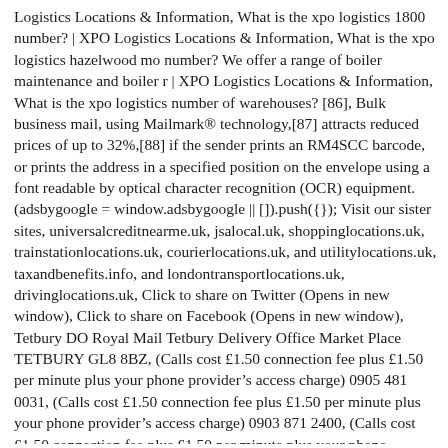Logistics Locations & Information, What is the xpo logistics 1800 number? | XPO Logistics Locations & Information, What is the xpo logistics hazelwood mo number? We offer a range of boiler maintenance and boiler r | XPO Logistics Locations & Information, What is the xpo logistics number of warehouses? [86], Bulk business mail, using Mailmark® technology,[87] attracts reduced prices of up to 32%,[88] if the sender prints an RM4SCC barcode, or prints the address in a specified position on the envelope using a font readable by optical character recognition (OCR) equipment. (adsbygoogle = window.adsbygoogle || []).push({}); Visit our sister sites, universalcreditnearme.uk, jsalocal.uk, shoppinglocations.uk, trainstationlocations.uk, courierlocations.uk, and utilitylocations.uk, taxandbenefits.info, and londontransportlocations.uk, drivinglocations.uk, Click to share on Twitter (Opens in new window), Click to share on Facebook (Opens in new window), Tetbury DO Royal Mail Tetbury Delivery Office Market Place TETBURY GL8 8BZ, (Calls cost £1.50 connection fee plus £1.50 per minute plus your phone provider's access charge) 0905 481 0031, (Calls cost £1.50 connection fee plus £1.50 per minute plus your phone provider's access charge) 0903 871 2400, (Calls cost £1.50 connection fee plus £1.50 per minute plus your phone provider's access charge) 0903 871 2401, (Calls cost 7ppm + network charges) 0903 871 2402, (Calls cost 7ppm + network charges) 0903 871 2403, (Calls cost 7ppm +